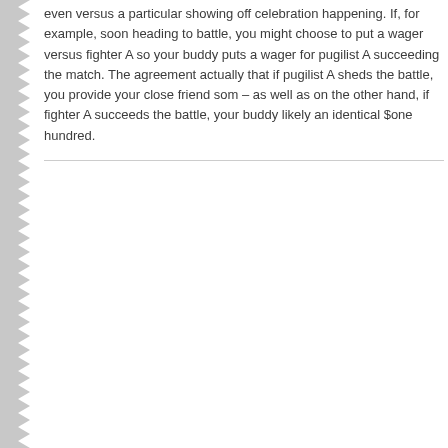even versus a particular showing off celebration happening. If, for example, soon heading to battle, you might choose to put a wager versus fighter A so your buddy puts a wager for pugilist A succeeding the match. The agreement actually that if pugilist A sheds the battle, you provide your close friend som – as well as on the other hand, if fighter A succeeds the battle, your buddy likely an identical $one hundred.